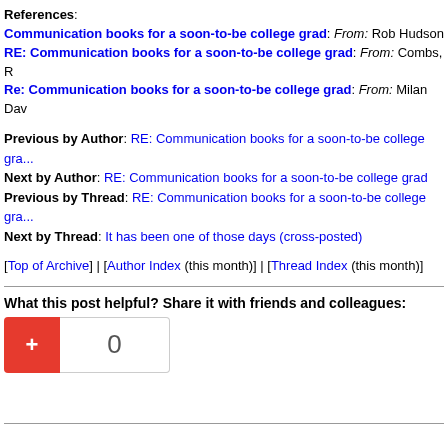References: Communication books for a soon-to-be college grad: From: Rob Hudson RE: Communication books for a soon-to-be college grad: From: Combs, R Re: Communication books for a soon-to-be college grad: From: Milan Dav
Previous by Author: RE: Communication books for a soon-to-be college grad Next by Author: RE: Communication books for a soon-to-be college grad Previous by Thread: RE: Communication books for a soon-to-be college grad Next by Thread: It has been one of those days (cross-posted)
[Top of Archive] | [Author Index (this month)] | [Thread Index (this month)]
What this post helpful? Share it with friends and colleagues:
[Figure (other): Google +1 button showing a red plus button and a count of 0]